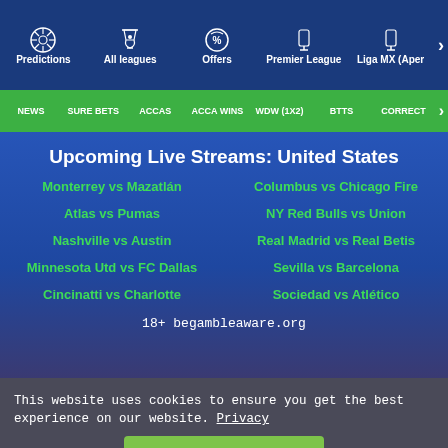Predictions | All leagues | Offers | Premier League | Liga MX (Aper
NEWS | SURE BETS | ACCAS | ACCA WINS | WDW (1X2) | BTTS | CORRECT
Upcoming Live Streams: United States
Monterrey vs Mazatlán
Columbus vs Chicago Fire
Atlas vs Pumas
NY Red Bulls vs Union
Nashville vs Austin
Real Madrid vs Real Betis
Minnesota Utd vs FC Dallas
Sevilla vs Barcelona
Cincinatti vs Charlotte
Sociedad vs Atlético
18+ begambleaware.org
This website uses cookies to ensure you get the best experience on our website. Privacy
I agree